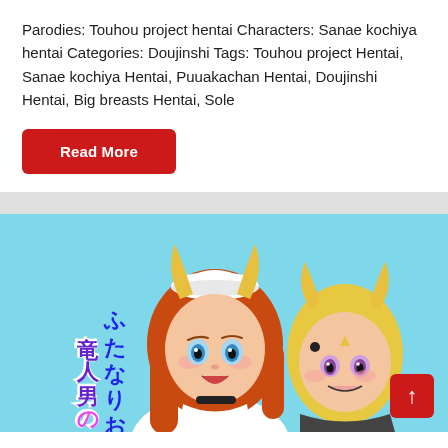Parodies: Touhou project hentai Characters: Sanae kochiya hentai Categories: Doujinshi Tags: Touhou project Hentai, Sanae kochiya Hentai, Puuakachan Hentai, Doujinshi Hentai, Big breasts Hentai, Sole
Read More
[Figure (illustration): Anime-style illustration of two female characters with horns, one with red hair wearing a maid outfit, the other with blonde hair. Japanese text overlaid on the left side of the image. Light blue background.]